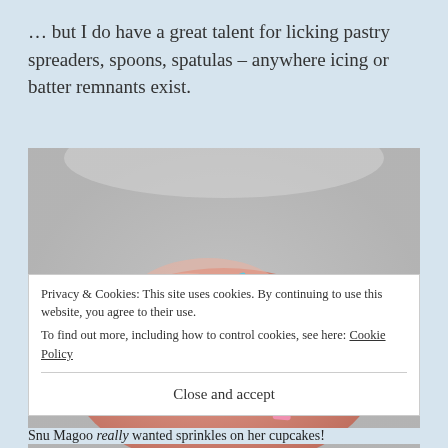… but I do have a great talent for licking pastry spreaders, spoons, spatulas – anywhere icing or batter remnants exist.
[Figure (photo): Close-up photo of a pink/peach frosted cupcake or cake pop covered with colorful sprinkles (blue, yellow, orange, pink, white, green) on a light gray background.]
Privacy & Cookies: This site uses cookies. By continuing to use this website, you agree to their use.
To find out more, including how to control cookies, see here: Cookie Policy
Close and accept
Snu Magoo really wanted sprinkles on her cupcakes!